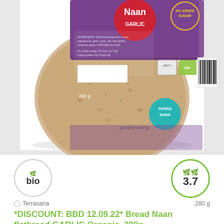[Figure (photo): Product photo of Terrasana Garlic Naan flatbread package, 280g, showing a round flatbread with purple/maroon packaging, Terra Sana branding, 'positive eating' tagline, 'NO ADDED SUGAR' badge, and nutrition label with barcode]
bio
3.7
Terrasana
280 g
*DISCOUNT: BBD 12.09.22* Bread Naan flatbread GARLIC Organic, 280g
CHF 3.50
-15%
CHF 4.10
CHF 1.25 / 100 g